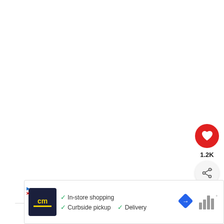[Figure (screenshot): White blank area taking up most of the page, representing a video or content viewing area]
[Figure (infographic): Red circular heart/like button with white heart icon, showing 1.2K likes count below, and a share button (circular with share icon)]
1.2K
[Figure (infographic): What's Next panel showing a thumbnail of a person and the text 'WHAT'S NEXT → Why Is He Texting Me If...']
WHAT'S NEXT → Why Is He Texting Me If...
[Figure (screenshot): Advertisement banner showing CM logo, checkmarks for In-store shopping, Curbside pickup, Delivery, a navigation/map icon, and bar chart icon]